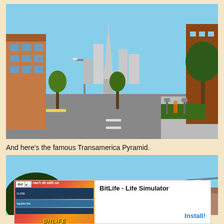[Figure (photo): Street view of San Francisco with cars on road, buildings on both sides, people on sidewalk, trees, parking meters, and downtown skyscrapers visible in the distance including the Transamerica Pyramid. Clear blue sky.]
And here's the famous Transamerica Pyramid.
[Figure (photo): Partial photo of San Francisco street scene with trees in foreground and a building rooftop visible, clear blue sky, taken from a lower angle.]
[Figure (other): Advertisement banner for BitLife - Life Simulator app. Shows 'Ad' label, app screenshots, BitLife logo with yellow text, and 'Install!' button on right side.]